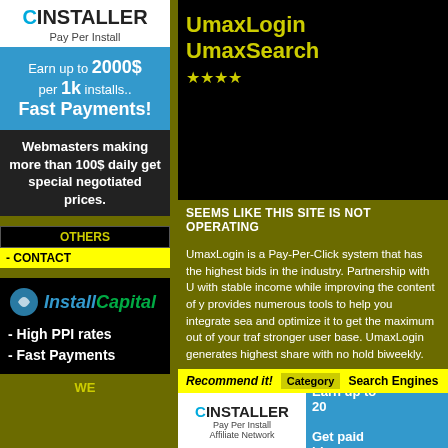[Figure (infographic): CInstaller Pay Per Install ad. White top with logo, blue section with '2000$' and '1k installs Fast Payments!', dark section with webmaster promo text.]
OTHERS
- CONTACT
[Figure (infographic): InstallCapital logo with 'High PPI rates' and 'Fast Payments' text on black background.]
WE
UmaxLogin UmaxSearch
★★★★
SEEMS LIKE THIS SITE IS NOT OPERATING
UmaxLogin is a Pay-Per-Click system that has the highest bids in the industry. Partnership with U with stable income while improving the content of y provides numerous tools to help you integrate sea and optimize it to get the maximum out of your traf stronger user base. UmaxLogin generates highest share with no hold biweekly.
Recommend it!  Category  Search Engines
[Figure (infographic): CInstaller Pay Per Install Affiliate Network banner ad. White left side with logo, blue right side with 'Earn up to 20' and 'Get paid bi-w'.]